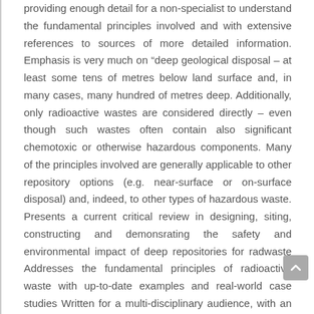providing enough detail for a non-specialist to understand the fundamental principles involved and with extensive references to sources of more detailed information. Emphasis is very much on “deep geological disposal – at least some tens of metres below land surface and, in many cases, many hundred of metres deep. Additionally, only radioactive wastes are considered directly – even though such wastes often contain also significant chemotoxic or otherwise hazardous components. Many of the principles involved are generally applicable to other repository options (e.g. near-surface or on-surface disposal) and, indeed, to other types of hazardous waste. Presents a current critical review in designing, siting, constructing and demonsrating the safety and environmental impact of deep repositories for radwaste Addresses the fundamental principles of radioactive waste with up-to-date examples and real-world case studies Written for a multi-disciplinary audience, with an appropriate level of